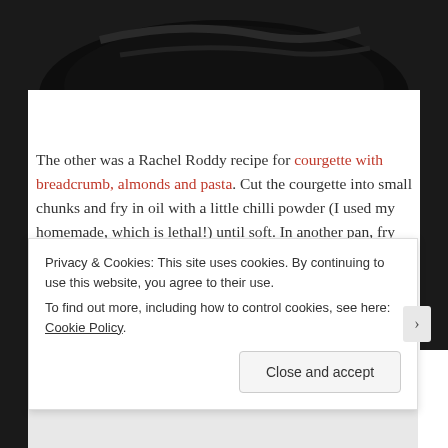[Figure (photo): Dark overhead photo of cooking pan/pot, cropped at top of page]
The other was a Rachel Roddy recipe for courgette with breadcrumb, almonds and pasta. Cut the courgette into small chunks and fry in oil with a little chilli powder (I used my homemade, which is lethal!) until soft. In another pan, fry breadcrumbs and some finely chopped, blanched almonds,
Privacy & Cookies: This site uses cookies. By continuing to use this website, you agree to their use.
To find out more, including how to control cookies, see here: Cookie Policy
Close and accept